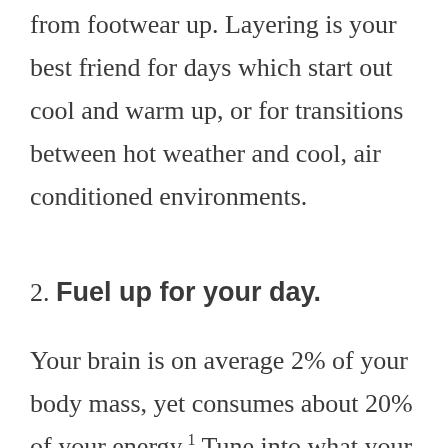from footwear up. Layering is your best friend for days which start out cool and warm up, or for transitions between hot weather and cool, air conditioned environments.
2. Fuel up for your day.
Your brain is on average 2% of your body mass, yet consumes about 20% of your energy.¹ Tune into what your body seeks to